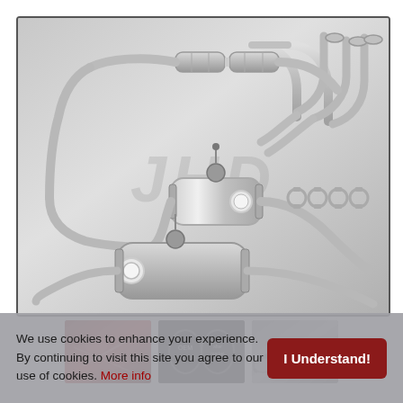[Figure (photo): Main product photo of a stainless steel exhaust system kit with mufflers, pipes, catalytic converters, X-pipe, and clamps laid out on a light gray background. A watermark/logo is visible in the center of the image.]
[Figure (photo): Thumbnail 1: Red engine bay photo showing exhaust components installed]
[Figure (photo): Thumbnail 2: Dark background showing two oval exhaust tips labeled OEM and another label]
[Figure (photo): Thumbnail 3: Silver/gray exhaust system components close-up]
We use cookies to enhance your experience. By continuing to visit this site you agree to our use of cookies. More info